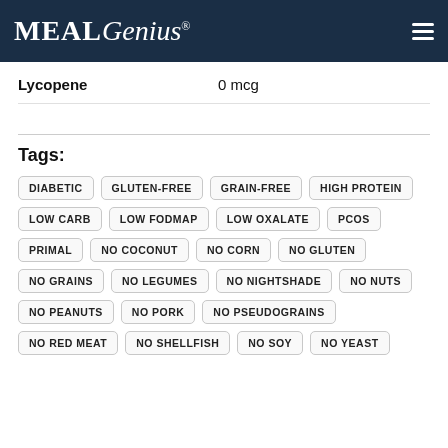MealGenius
Lycopene   0 mcg
Tags:
DIABETIC
GLUTEN-FREE
GRAIN-FREE
HIGH PROTEIN
LOW CARB
LOW FODMAP
LOW OXALATE
PCOS
PRIMAL
NO COCONUT
NO CORN
NO GLUTEN
NO GRAINS
NO LEGUMES
NO NIGHTSHADE
NO NUTS
NO PEANUTS
NO PORK
NO PSEUDOGRAINS
NO RED MEAT
NO SHELLFISH
NO SOY
NO YEAST